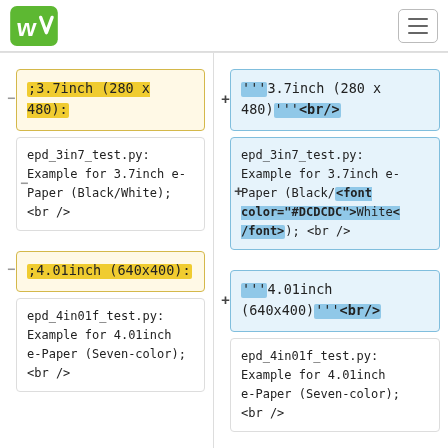WS logo and hamburger menu
;3.7inch (280 x 480):
'''3.7inch (280 x 480)'''<br/>
epd_3in7_test.py: Example for 3.7inch e-Paper (Black/White); <br />
epd_3in7_test.py: Example for 3.7inch e-Paper (Black/<font color="#DCDCDC">White</font>); <br />
;4.01inch (640x400):
'''4.01inch (640x400)'''<br/>
epd_4in01f_test.py: Example for 4.01inch e-Paper (Seven-color); <br />
epd_4in01f_test.py: Example for 4.01inch e-Paper (Seven-color); <br />